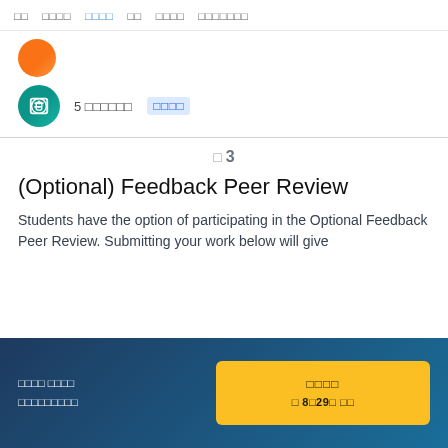□□  □□□□  □□□□  □□  □□□□  □□□□□□□
[Figure (illustration): Orange circular avatar (partially visible at top)]
[Figure (illustration): Teal circle icon with book/open-book symbol, followed by text '5 □□□□□□ □□□□']
5 □□□□□□  □□□□
□ 3
(Optional) Feedback Peer Review
Students have the option of participating in the Optional Feedback Peer Review. Submitting your work below will give
□□□□ □□□□ □□□□□□□□□  □□□□ □ 8□29□ □□